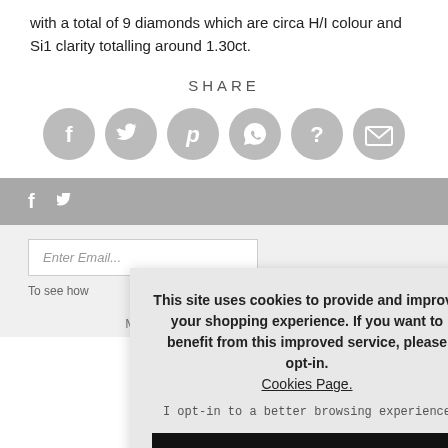with a total of 9 diamonds which are circa H/I colour and Si1 clarity totalling around 1.30ct.
SHARE
[Figure (infographic): Row of 6 circular grey social sharing icons: Facebook (f), Twitter (bird), Pinterest (p), WhatsApp (speech bubble), Unknown (?), Email (envelope)]
[Figure (infographic): Footer bar with Facebook (f) and Twitter (bird) icons in white on grey background]
Enter Email...
To see how
This site uses cookies to provide and improve your shopping experience. If you want to benefit from this improved service, please opt-in. Cookies Page.
I opt-in to a better browsing experience
ACCEPT COOKIES
Monday - Saturday: 9.30am - 5pm